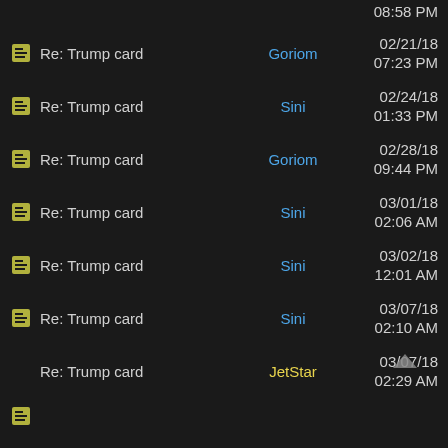Re: Trump card | 08:58 PM (partial, top cut off)
Re: Trump card | Goriom | 02/21/18 07:23 PM
Re: Trump card | Sini | 02/24/18 01:33 PM
Re: Trump card | Goriom | 02/28/18 09:44 PM
Re: Trump card | Sini | 03/01/18 02:06 AM
Re: Trump card | Sini | 03/02/18 12:01 AM
Re: Trump card | Sini | 03/07/18 02:10 AM
Re: Trump card | JetStar | 03/07/18 02:29 AM
Re: Trump card (partial, bottom cut off)